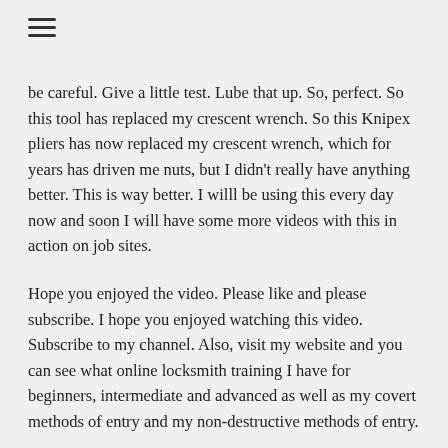≡
be careful. Give a little test. Lube that up. So, perfect. So this tool has replaced my crescent wrench. So this Knipex pliers has now replaced my crescent wrench, which for years has driven me nuts, but I didn't really have anything better. This is way better. I willl be using this every day now and soon I will have some more videos with this in action on job sites.
Hope you enjoyed the video. Please like and please subscribe. I hope you enjoyed watching this video. Subscribe to my channel. Also, visit my website and you can see what online locksmith training I have for beginners, intermediate and advanced as well as my covert methods of entry and my non-destructive methods of entry.
Knipex Piler Review: